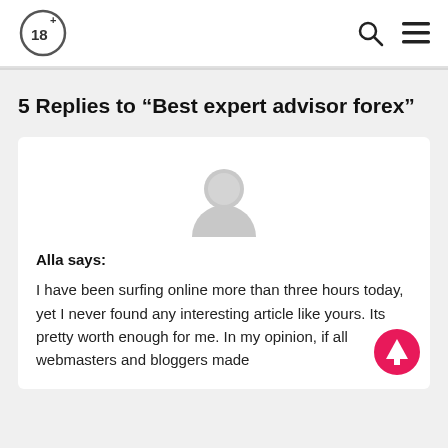18+ [logo] | search icon | menu icon
5 Replies to “Best expert advisor forex”
[Figure (illustration): Grey default user avatar circle icon]
Alla says:
I have been surfing online more than three hours today, yet I never found any interesting article like yours. Its pretty worth enough for me. In my opinion, if all webmasters and bloggers made